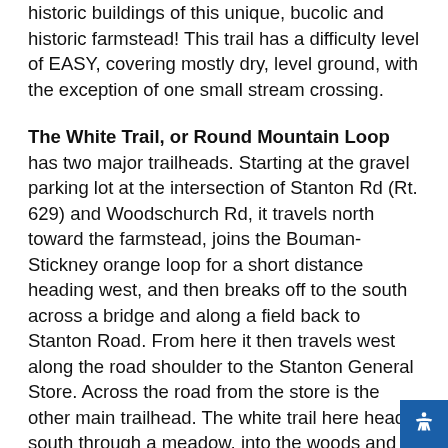historic buildings of this unique, bucolic and historic farmstead! This trail has a difficulty level of EASY, covering mostly dry, level ground, with the exception of one small stream crossing.
The White Trail, or Round Mountain Loop has two major trailheads. Starting at the gravel parking lot at the intersection of Stanton Rd (Rt. 629) and Woodschurch Rd, it travels north toward the farmstead, joins the Bouman-Stickney orange loop for a short distance heading west, and then breaks off to the south across a bridge and along a field back to Stanton Road. From here it then travels west along the road shoulder to the Stanton General Store. Across the road from the store is the other main trailhead. The white trail here heads south through a meadow, into the woods and up the forested side of Round Mountain where it is joined by the County's Peter Buell Trail (marked with Hunterdon County orange blazes). At the summit, the two routes form an intersection. Due to the large f